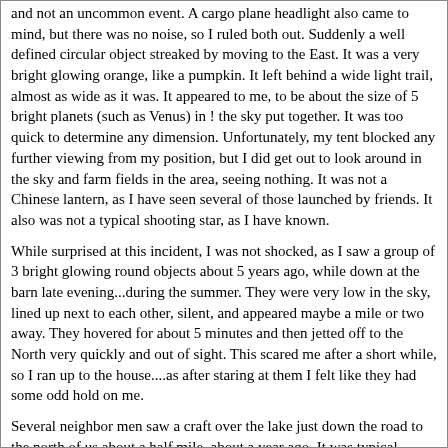and not an uncommon event. A cargo plane headlight also came to mind, but there was no noise, so I ruled both out. Suddenly a well defined circular object streaked by moving to the East. It was a very bright glowing orange, like a pumpkin. It left behind a wide light trail, almost as wide as it was. It appeared to me, to be about the size of 5 bright planets (such as Venus) in ! the sky put together. It was too quick to determine any dimension. Unfortunately, my tent blocked any further viewing from my position, but I did get out to look around in the sky and farm fields in the area, seeing nothing. It was not a Chinese lantern, as I have seen several of those launched by friends. It also was not a typical shooting star, as I have known.
While surprised at this incident, I was not shocked, as I saw a group of 3 bright glowing round objects about 5 years ago, while down at the barn late evening...during the summer. They were very low in the sky, lined up next to each other, silent, and appeared maybe a mile or two away. They hovered for about 5 minutes and then jetted off to the North very quickly and out of sight. This scared me after a short while, so I ran up to the house....as after staring at them I felt like they had some odd hold on me.
Several neighbor men saw a craft over the lake just down the road to the north of us about a half mile, about a year ago. It was typical saucer shaped with windows and lights. So I guess I am not the only one in the area who has seen unusual things in the sky.